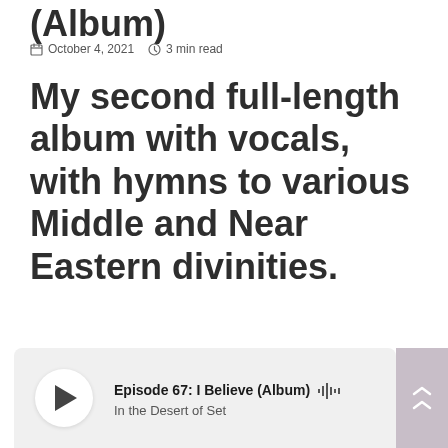(Album)
October 4, 2021  3 min read
My second full-length album with vocals, with hymns to various Middle and Near Eastern divinities.
[Figure (other): Podcast player widget showing Episode 67: I Believe (Album) by In the Desert of Set, with a play button and waveform animation icon]